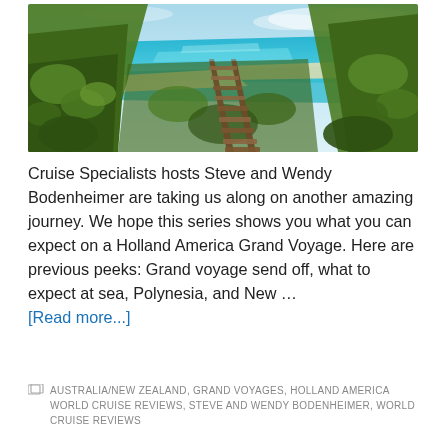[Figure (photo): Scenic coastal landscape with a wooden boardwalk/steps leading through green scrubby vegetation down toward a turquoise sea and sandy beach]
Cruise Specialists hosts Steve and Wendy Bodenheimer are taking us along on another amazing journey. We hope this series shows you what you can expect on a Holland America Grand Voyage. Here are previous peeks: Grand voyage send off, what to expect at sea, Polynesia, and New … [Read more...]
AUSTRALIA/NEW ZEALAND, GRAND VOYAGES, HOLLAND AMERICA WORLD CRUISE REVIEWS, STEVE AND WENDY BODENHEIMER, WORLD CRUISE REVIEWS